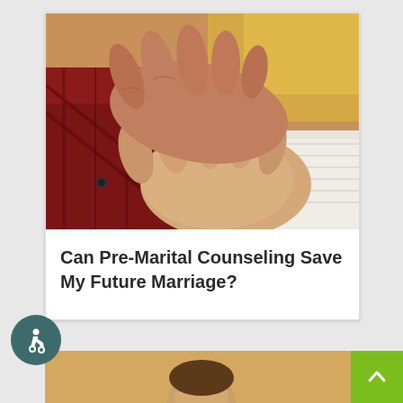[Figure (photo): Close-up photo of two people holding hands; one person's hand has a diamond engagement ring and they are wearing a white knit sweater; the other person is wearing a red plaid shirt.]
Can Pre-Marital Counseling Save My Future Marriage?
[Figure (photo): Partial view of a person's head at the bottom of the page.]